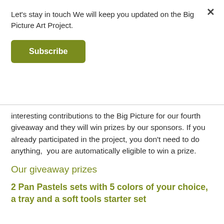Let's stay in touch We will keep you updated on the Big Picture Art Project.
Subscribe
interesting contributions to the Big Picture for our fourth giveaway and they will win prizes by our sponsors. If you already participated in the project, you don't need to do anything,  you are automatically eligible to win a prize.
Our giveaway prizes
2 Pan Pastels sets with 5 colors of your choice, a tray and a soft tools starter set